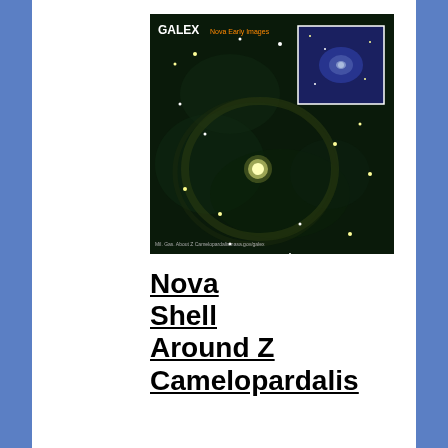[Figure (photo): GALEX image showing Nova Shell Around Z Camelopardalis - a composite ultraviolet image with dark background showing stars and a nova shell, with an inset image in the upper right corner. GALEX logo visible at top left of image.]
Nova Shell Around Z Camelopardalis
The larger image, a composite from the near-ultraviolet and far-ultraviolet detectors on NASA's Galaxy Evolution Explorer, shows the Z Camelopardalis (Z Cam) stellar